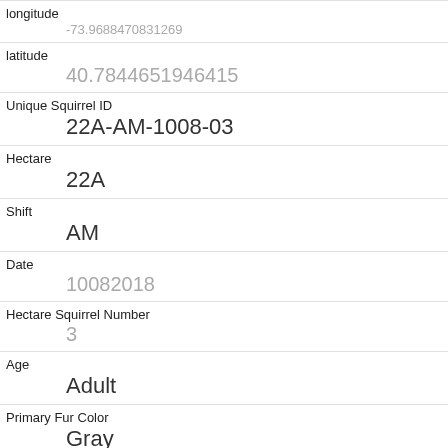| longitude | -73.9688470831269 |
| latitude | 40.7844651946415 |
| Unique Squirrel ID | 22A-AM-1008-03 |
| Hectare | 22A |
| Shift | AM |
| Date | 10082018 |
| Hectare Squirrel Number | 3 |
| Age | Adult |
| Primary Fur Color | Gray |
| Highlight Fur Color |  |